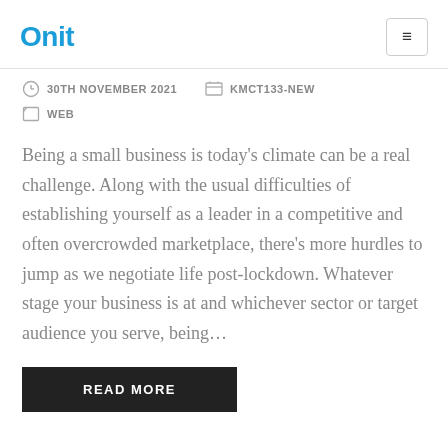Onit
30TH NOVEMBER 2021   KMCT133-NEW
WEB
Being a small business is today’s climate can be a real challenge. Along with the usual difficulties of establishing yourself as a leader in a competitive and often overcrowded marketplace, there’s more hurdles to jump as we negotiate life post-lockdown. Whatever stage your business is at and whichever sector or target audience you serve, being…
READ MORE